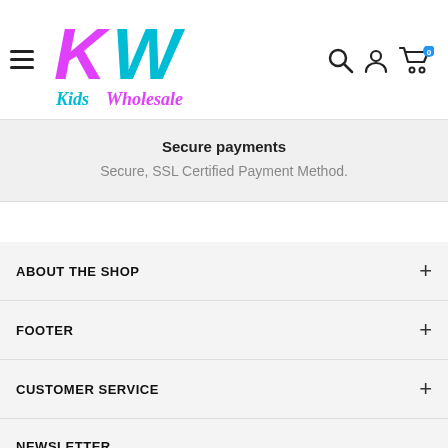[Figure (logo): Kids Wholesale logo with colorful KW letters in pink and cyan, and 'Kids Wholesale' text below in cyan and pink cursive]
Secure payments
Secure, SSL Certified Payment Method.
ABOUT THE SHOP
FOOTER
CUSTOMER SERVICE
NEWSLETTER